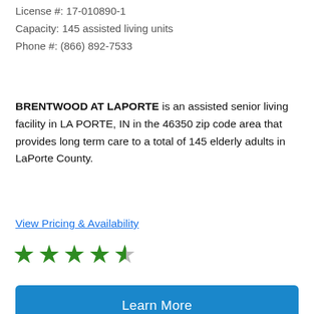License #: 17-010890-1
Capacity: 145 assisted living units
Phone #: (866) 892-7533
BRENTWOOD AT LAPORTE is an assisted senior living facility in LA PORTE, IN in the 46350 zip code area that provides long term care to a total of 145 elderly adults in LaPorte County.
View Pricing & Availability
[Figure (other): 4.5 star rating displayed as green stars]
Learn More
[Figure (photo): Photo of two women, one elderly with white hair and one younger caregiver in white, smiling together in a hallway]